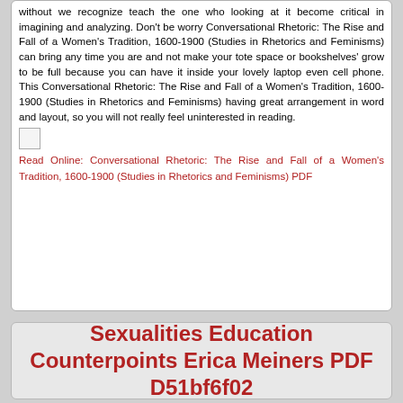without we recognize teach the one who looking at it become critical in imagining and analyzing. Don't be worry Conversational Rhetoric: The Rise and Fall of a Women's Tradition, 1600-1900 (Studies in Rhetorics and Feminisms) can bring any time you are and not make your tote space or bookshelves' grow to be full because you can have it inside your lovely laptop even cell phone. This Conversational Rhetoric: The Rise and Fall of a Women's Tradition, 1600-1900 (Studies in Rhetorics and Feminisms) having great arrangement in word and layout, so you will not really feel uninterested in reading.
[Figure (other): Small broken image icon placeholder]
Read Online: Conversational Rhetoric: The Rise and Fall of a Women's Tradition, 1600-1900 (Studies in Rhetorics and Feminisms) PDF
Sexualities Education Counterpoints Erica Meiners PDF D51bf6f02